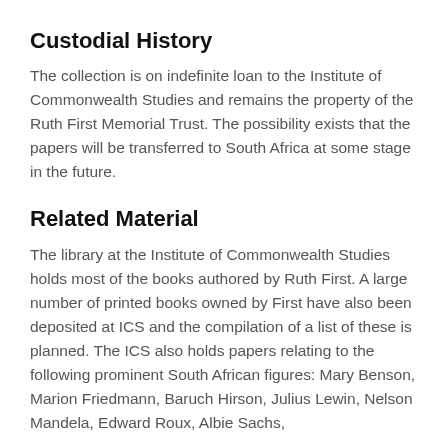Custodial History
The collection is on indefinite loan to the Institute of Commonwealth Studies and remains the property of the Ruth First Memorial Trust. The possibility exists that the papers will be transferred to South Africa at some stage in the future.
Related Material
The library at the Institute of Commonwealth Studies holds most of the books authored by Ruth First. A large number of printed books owned by First have also been deposited at ICS and the compilation of a list of these is planned. The ICS also holds papers relating to the following prominent South African figures: Mary Benson, Marion Friedmann, Baruch Hirson, Julius Lewin, Nelson Mandela, Edward Roux, Albie Sachs,